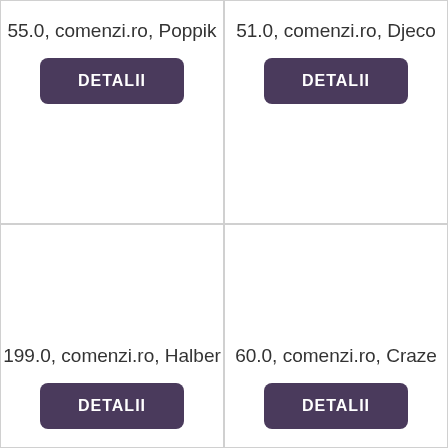55.0, comenzi.ro, Poppik
DETALII
51.0, comenzi.ro, Djeco
DETALII
199.0, comenzi.ro, Halber
DETALII
60.0, comenzi.ro, Craze
DETALII